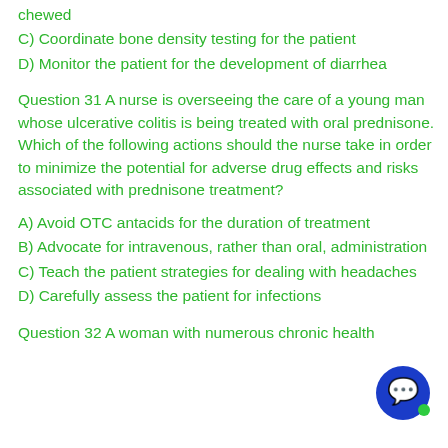chewed
C) Coordinate bone density testing for the patient
D) Monitor the patient for the development of diarrhea
Question 31 A nurse is overseeing the care of a young man whose ulcerative colitis is being treated with oral prednisone. Which of the following actions should the nurse take in order to minimize the potential for adverse drug effects and risks associated with prednisone treatment?
A) Avoid OTC antacids for the duration of treatment
B) Advocate for intravenous, rather than oral, administration
C) Teach the patient strategies for dealing with headaches
D) Carefully assess the patient for infections
Question 32 A woman with numerous chronic health